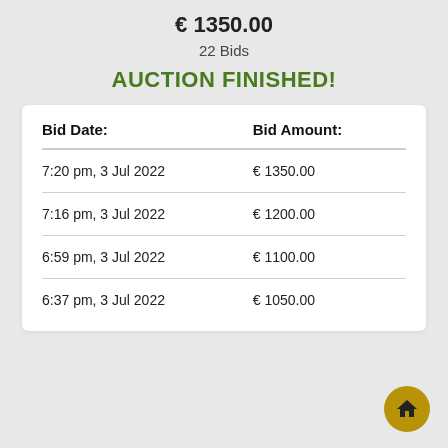€ 1350.00
22 Bids
AUCTION FINISHED!
| Bid Date: | Bid Amount: |
| --- | --- |
| 7:20 pm, 3 Jul 2022 | € 1350.00 |
| 7:16 pm, 3 Jul 2022 | € 1200.00 |
| 6:59 pm, 3 Jul 2022 | € 1100.00 |
| 6:37 pm, 3 Jul 2022 | € 1050.00 |